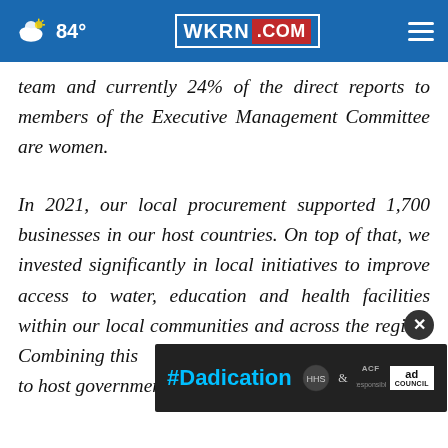84° WKRN.COM
team and currently 24% of the direct reports to members of the Executive Management Committee are women.
In 2021, our local procurement supported 1,700 businesses in our host countries. On top of that, we invested significantly in local initiatives to improve access to water, education and health facilities within our local communities and across the region. Combining this with our payroll paid to host governments, we spent approximately $2
[Figure (screenshot): #Dadication ad banner with HHS/ACF and Ad Council logos on dark background]
[Figure (other): Close button (X) circle overlay on the ad]